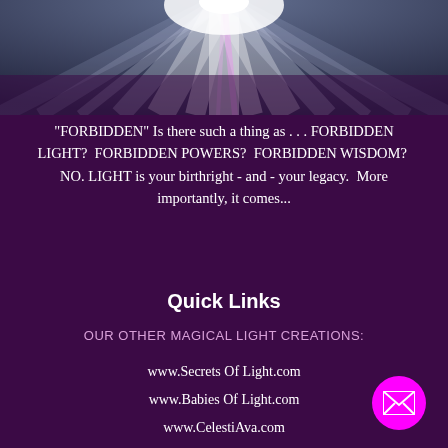[Figure (illustration): Bright radiant light rays emanating from center, dark blue-grey gradient background, light beams spreading outward like a starburst]
"FORBIDDEN" Is there such a thing as . . . FORBIDDEN LIGHT?  FORBIDDEN POWERS?  FORBIDDEN WISDOM?  NO. LIGHT is your birthright - and - your legacy.  More importantly, it comes...
Quick Links
OUR OTHER MAGICAL LIGHT CREATIONS:
www.Secrets Of Light.com
www.Babies Of Light.com
www.CelestiAva.com
www.Living As Light.com